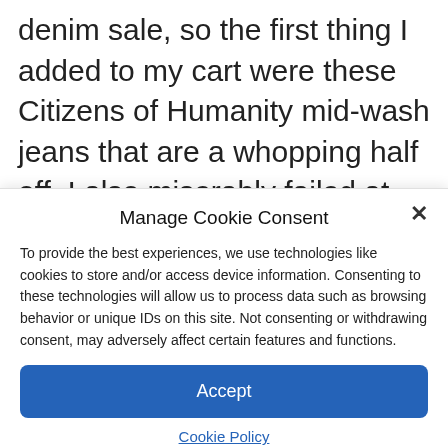denim sale, so the first thing I added to my cart were these Citizens of Humanity mid-wash jeans that are a whopping half off. I also miserably failed at DIY tie-dye recently, so had to redeem myself with this Obey tie-dye hoodie. I also was pretty surprised to find Reebok's divisive Beatnik sandals and some on-trend clear sunglasses from
Manage Cookie Consent
To provide the best experiences, we use technologies like cookies to store and/or access device information. Consenting to these technologies will allow us to process data such as browsing behavior or unique IDs on this site. Not consenting or withdrawing consent, may adversely affect certain features and functions.
Accept
Cookie Policy